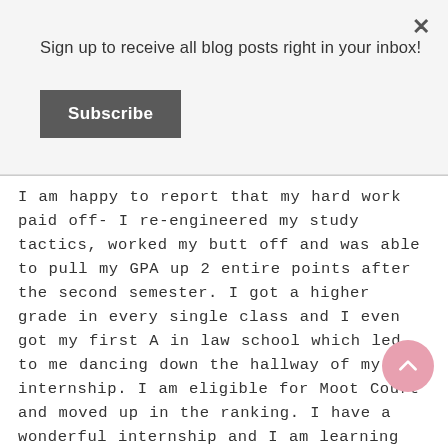Sign up to receive all blog posts right in your inbox!
Subscribe
I am happy to report that my hard work paid off- I re-engineered my study tactics, worked my butt off and was able to pull my GPA up 2 entire points after the second semester. I got a higher grade in every single class and I even got my first A in law school which led to me dancing down the hallway of my internship. I am eligible for Moot Court and moved up in the ranking. I have a wonderful internship and I am learning something every day. Overall, I am heading into my 2L year much more confident and set in my plan to finish law school and succeed in the legal field.